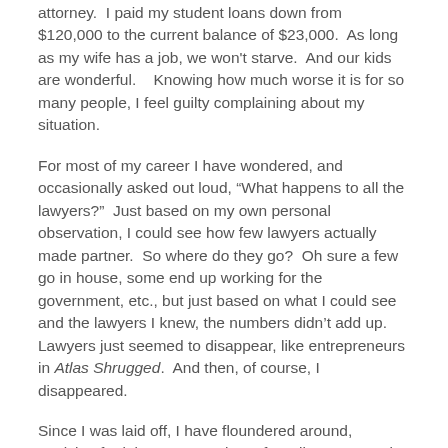attorney.  I paid my student loans down from $120,000 to the current balance of $23,000.  As long as my wife has a job, we won't starve.  And our kids are wonderful.   Knowing how much worse it is for so many people, I feel guilty complaining about my situation.
For most of my career I have wondered, and occasionally asked out loud, “What happens to all the lawyers?”  Just based on my own personal observation, I could see how few lawyers actually made partner.  So where do they go?  Oh sure a few go in house, some end up working for the government, etc., but just based on what I could see and the lawyers I knew, the numbers didn’t add up.  Lawyers just seemed to disappear, like entrepreneurs in Atlas Shrugged.  And then, of course, I disappeared.
Since I was laid off, I have floundered around, applying for jobs, representing a few clients as a solo practitioner (not that that has been lucrativo